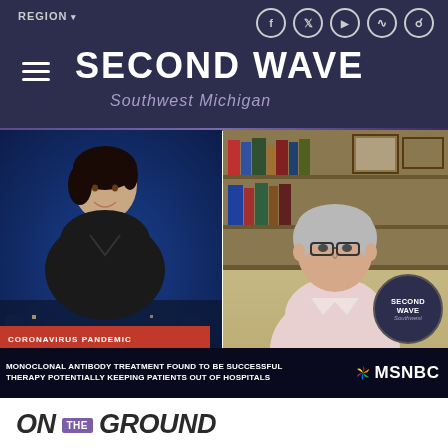SECOND WAVE Southwest Michigan
[Figure (screenshot): MSNBC TV screenshot showing two people in a split screen interview. Left side shows a female anchor against a blue city backdrop. Right side shows a male guest in a home office with bookshelves. Lower chyron reads: CORONAVIRUS PANDEMIC / MONOCLONAL ANTIBODY TREATMENT FOUND TO BE SUCCESSFUL THERAPY POTENTIALLY KEEPING PATIENTS OUT OF HOSPITALS. MSNBC logo in lower right. Second Wave Southwest watermark badge overlaid.]
ON THE GROUND